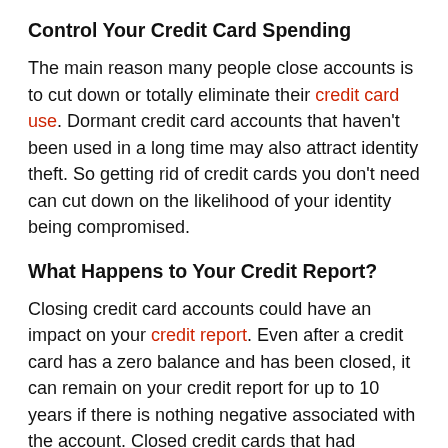Control Your Credit Card Spending
The main reason many people close accounts is to cut down or totally eliminate their credit card use. Dormant credit card accounts that haven't been used in a long time may also attract identity theft. So getting rid of credit cards you don't need can cut down on the likelihood of your identity being compromised.
What Happens to Your Credit Report?
Closing credit card accounts could have an impact on your credit report. Even after a credit card has a zero balance and has been closed, it can remain on your credit report for up to 10 years if there is nothing negative associated with the account. Closed credit cards that had negative information such as late payment histories generally stay on a credit report for about seven years and can depress your credit score.
Credit scores are based in part on how long you've had credit cards and other lines of credit open. The longer